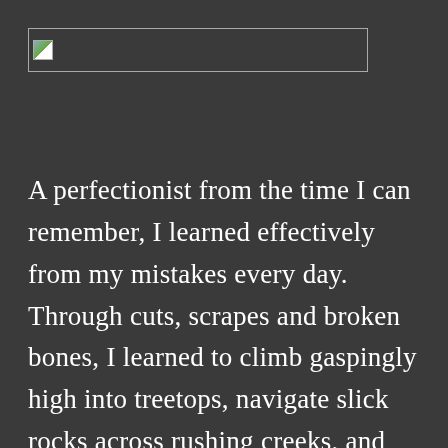[Figure (other): A placeholder image box with a small broken-image icon, spanning the top portion of the page header area]
A perfectionist from the time I can remember, I learned effectively from my mistakes every day. Through cuts, scrapes and broken bones, I learned to climb gaspingly high into treetops, navigate slick rocks across rushing creeks, and coast my bike with no hands or feet. Most learning from mistakes as a young child was painful for me, physically, emotionally, or both